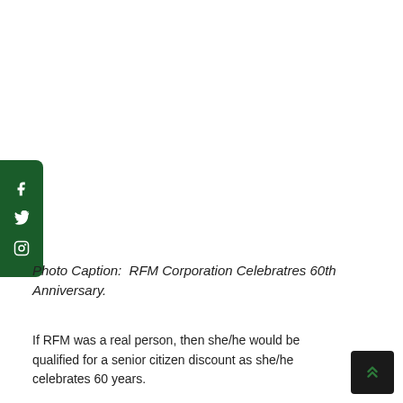[Figure (other): Dark green vertical social media sidebar with Facebook, Twitter, and Instagram icons in white]
Photo Caption:  RFM Corporation Celebratres 60th Anniversary.
If RFM was a real person, then she/he would be qualified for a senior citizen discount as she/he celebrates 60 years.